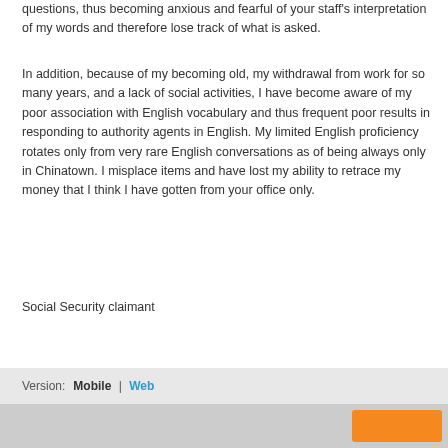questions, thus becoming anxious and fearful of your staff's interpretation of my words and therefore lose track of what is asked.
In addition, because of my becoming old, my withdrawal from work for so many years, and a lack of social activities, I have become aware of my poor association with English vocabulary and thus frequent poor results in responding to authority agents in English. My limited English proficiency rotates only from very rare English conversations as of being always only in Chinatown. I misplace items and have lost my ability to retrace my money that I think I have gotten from your office only.
Social Security claimant
Version:  Mobile  |  Web